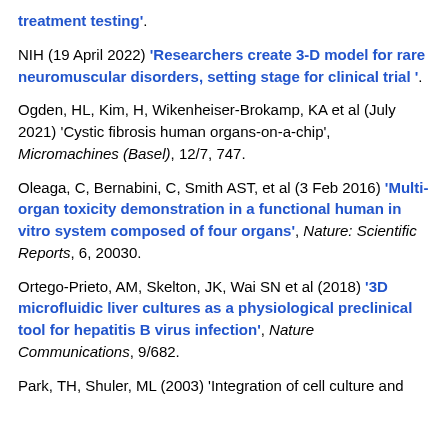treatment testing'.
NIH (19 April 2022) 'Researchers create 3-D model for rare neuromuscular disorders, setting stage for clinical trial '.
Ogden, HL, Kim, H, Wikenheiser-Brokamp, KA et al (July 2021) 'Cystic fibrosis human organs-on-a-chip', Micromachines (Basel), 12/7, 747.
Oleaga, C, Bernabini, C, Smith AST, et al (3 Feb 2016) 'Multi-organ toxicity demonstration in a functional human in vitro system composed of four organs', Nature: Scientific Reports, 6, 20030.
Ortego-Prieto, AM, Skelton, JK, Wai SN et al (2018) '3D microfluidic liver cultures as a physiological preclinical tool for hepatitis B virus infection', Nature Communications, 9/682.
Park, TH, Shuler, ML (2003) 'Integration of cell culture and